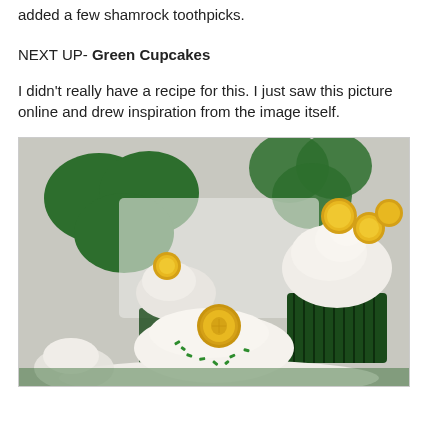added a few shamrock toothpicks.
NEXT UP- Green Cupcakes
I didn't really have a recipe for this. I just saw this picture online and drew inspiration from the image itself.
[Figure (photo): Green velvet cupcakes with white swirled frosting topped with gold coin chocolates, displayed in front of green shamrock decorations on a white background. Green sprinkles visible on a cupcake in the foreground.]